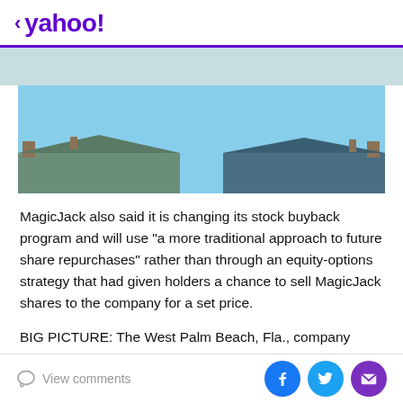< yahoo!
[Figure (photo): Partial photo of a building rooftop against a blue sky, cropped at the bottom of the image area]
MagicJack also said it is changing its stock buyback program and will use "a more traditional approach to future share repurchases" rather than through an equity-options strategy that had given holders a chance to sell MagicJack shares to the company for a set price.
BIG PICTURE: The West Palm Beach, Fla., company makes devices that route low-cost phone calls over the
View comments